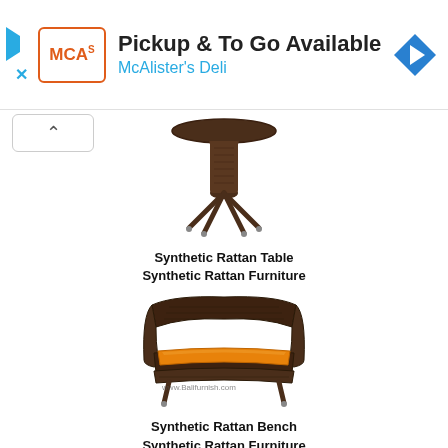[Figure (illustration): McAlister's Deli advertisement banner with logo, headline 'Pickup & To Go Available', subline 'McAlister's Deli', navigation icon, and play/close controls]
[Figure (illustration): Synthetic Rattan Table product image — dark brown woven rattan bistro-style round table with hourglass-shaped pedestal base]
Synthetic Rattan Table
Synthetic Rattan Furniture
[Figure (illustration): Synthetic Rattan Bench product image — dark brown woven rattan bench with orange cushion seat, with watermark www.Balifurnish.com]
Synthetic Rattan Bench
Synthetic Rattan Furniture
We're able to supply you with these woven furniture at